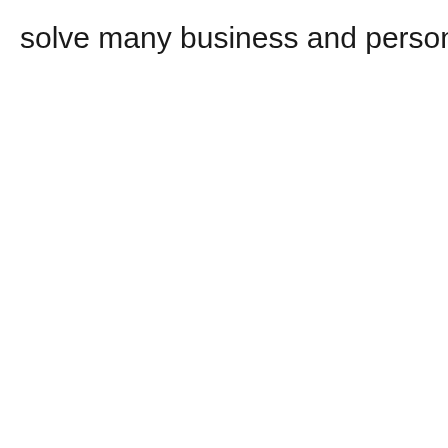solve many business and personal problems.